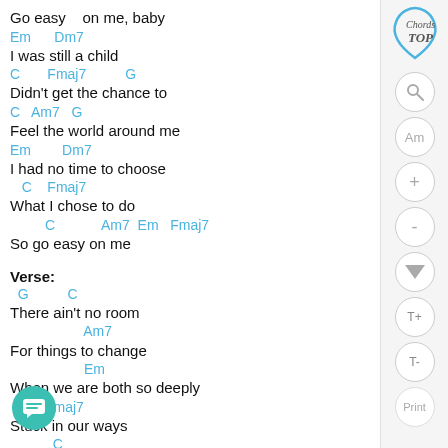Go easy    on me, baby
Em      Dm7
I was still a child
C       Fmaj7              G
Didn't get the chance to
C   Am7   G
Feel the world around me
Em        Dm7
I had no time to choose
C    Fmaj7
What I chose to do
C              Am7  Em   Fmaj7
So go easy on me
Verse:
G           C
There ain't no room
Am7
For things to change
Em
When we are both so deeply
Fmaj7
Stuck in our ways
C
You can't deny
Am7